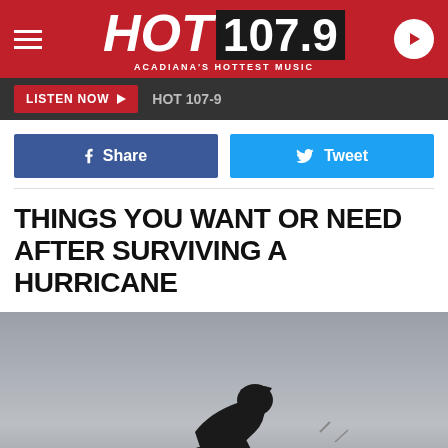HOT 107.9 - ACADIANA'S HOTTEST MUSIC
LISTEN NOW ▶  HOT 107-9
f Share  |  Tweet
THINGS YOU WANT OR NEED AFTER SURVIVING A HURRICANE
[Figure (photo): Silhouette of a person hammering on a rooftop against a grey cloudy sky]